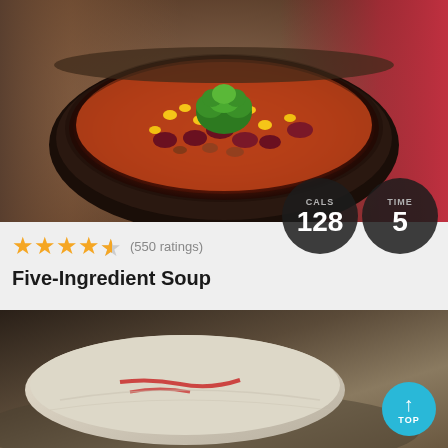[Figure (photo): A dark bowl filled with chili soup containing kidney beans, corn, ground meat in tomato broth, garnished with fresh parsley. Set on a wooden surface with a red cloth and silverware visible.]
(550 ratings)
CALS 128
TIME 5
Five-Ingredient Soup
[Figure (photo): Bottom portion of a second food photo showing what appears to be a wrap or burrito with ketchup/sauce on a plate.]